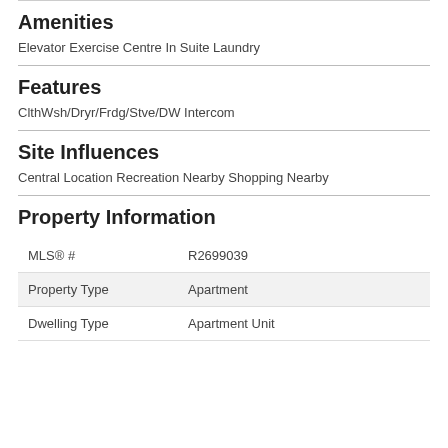Amenities
Elevator Exercise Centre In Suite Laundry
Features
ClthWsh/Dryr/Frdg/Stve/DW Intercom
Site Influences
Central Location Recreation Nearby Shopping Nearby
Property Information
| MLS® # | R2699039 |
| Property Type | Apartment |
| Dwelling Type | Apartment Unit |